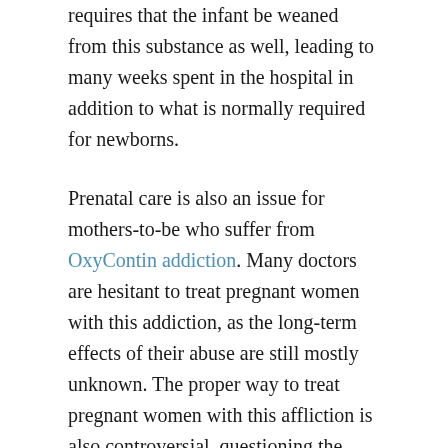requires that the infant be weaned from this substance as well, leading to many weeks spent in the hospital in addition to what is normally required for newborns.
Prenatal care is also an issue for mothers-to-be who suffer from OxyContin addiction. Many doctors are hesitant to treat pregnant women with this addiction, as the long-term effects of their abuse are still mostly unknown. The proper way to treat pregnant women with this affliction is also controversial, questioning the benefits and risks of treating the addiction and withdrawal or focusing more on the baby's reaction to a sudden loss of the opiate. Opinions on this matter are extremely varied, even more so because of many pharmacists' unwillingness to fill opiate prescriptions for